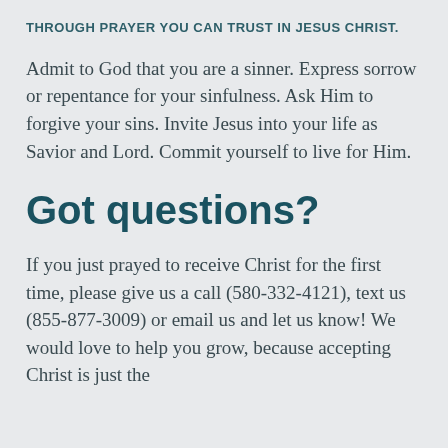THROUGH PRAYER YOU CAN TRUST IN JESUS CHRIST.
Admit to God that you are a sinner. Express sorrow or repentance for your sinfulness. Ask Him to forgive your sins. Invite Jesus into your life as Savior and Lord. Commit yourself to live for Him.
Got questions?
If you just prayed to receive Christ for the first time, please give us a call (580-332-4121), text us (855-877-3009) or email us and let us know! We would love to help you grow, because accepting Christ is just the